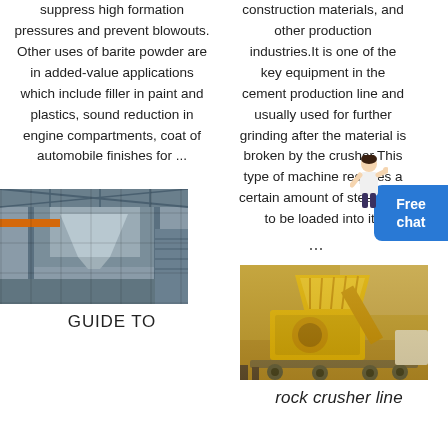suppress high formation pressures and prevent blowouts. Other uses of barite powder are in added-value applications which include filler in paint and plastics, sound reduction in engine compartments, coat of automobile finishes for ...
construction materials, and other production industries.It is one of the key equipment in the cement production line and usually used for further grinding after the material is broken by the crusher.This type of machine requires a certain amount of steel balls to be loaded into its ...
[Figure (photo): Industrial interior showing large metal fabrication or processing equipment, overhead cranes and structural steel framework inside a factory or plant building.]
[Figure (photo): Yellow mobile rock crusher machine on a construction or quarry site, with hopper, conveyor belt, and crusher body mounted on wheeled trailer.]
GUIDE TO
rock crusher line